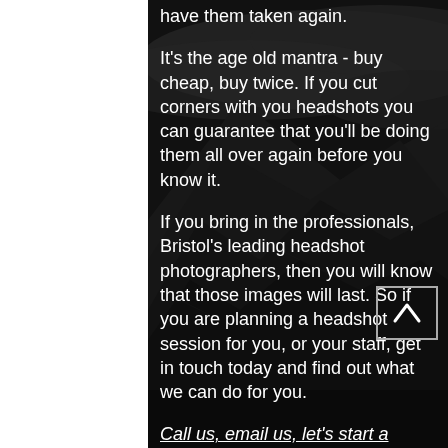[Figure (photo): Dark moody black and white photograph of mountain landscape with dramatic cloudy sky, serving as full-page background]
have them taken again.
It's the age old mantra - buy cheap, buy twice. If you cut corners with you headshots you can guarantee that you'll be doing them all over again before you know it.
If you bring in the professionals, Bristol's leading headshot photographers, then you will know that those images will last. So if you are planning a headshot session for you, or your staff, get in touch today and find out what we can do for you.
Call us, email us, let's start a conversation.